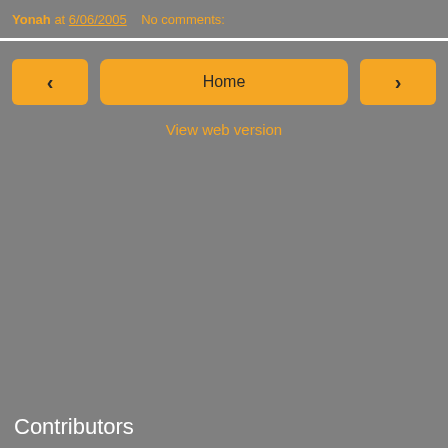Yonah at 6/06/2005   No comments:
Home
View web version
Contributors